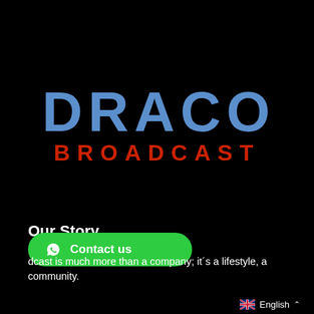[Figure (logo): Draco Broadcast logo: 'DRACO' in large blue bold uppercase letters above 'BROADCAST' in red bold uppercase letters, on a black background]
Our Story
[Figure (other): Green WhatsApp contact button with WhatsApp icon and 'Contact us' text]
dcast is much more than a company; it´s a lifestyle, a community.
English (with British flag and caret)